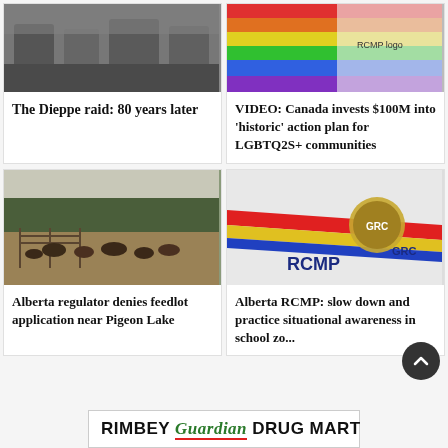[Figure (photo): Black and white photo of soldiers, related to Dieppe raid]
The Dieppe raid: 80 years later
[Figure (photo): Colorful photo related to LGBTQ2S+ pride, rainbow flag and RCMP logo visible]
VIDEO: Canada invests $100M into ‘historic’ action plan for LGBTQ2S+ communities
[Figure (photo): Photo of cattle on a field near trees, Alberta feedlot scene]
Alberta regulator denies feedlot application near Pigeon Lake
[Figure (photo): Photo of RCMP GRC police vehicle side showing logo and stripes]
Alberta RCMP: slow down and practice situational awareness in school zo...
RIMBEY Guardian DRUG MART